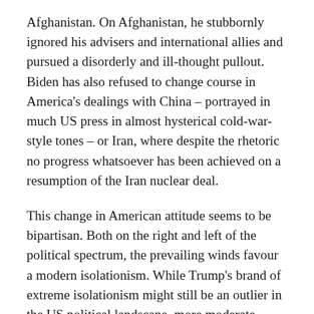Afghanistan. On Afghanistan, he stubbornly ignored his advisers and international allies and pursued a disorderly and ill-thought pullout. Biden has also refused to change course in America's dealings with China – portrayed in much US press in almost hysterical cold-war-style tones – or Iran, where despite the rhetoric no progress whatsoever has been achieved on a resumption of the Iran nuclear deal.
This change in American attitude seems to be bipartisan. Both on the right and left of the political spectrum, the prevailing winds favour a modern isolationism. While Trump's brand of extreme isolationism might still be an outlier in the US political landscape, more moderate forms are now prevalent among both Republicans and Democrats. This situation is not likely to change any time soon, despite Biden's “America is back” reassurance. And